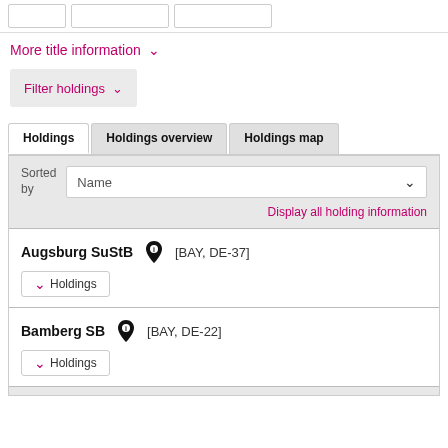More title information ∨
Filter holdings ∨
Holdings | Holdings overview | Holdings map
Sorted by: Name
Display all holding information
Augsburg SuStB [BAY, DE-37] ∨ Holdings
Bamberg SB [BAY, DE-22] ∨ Holdings